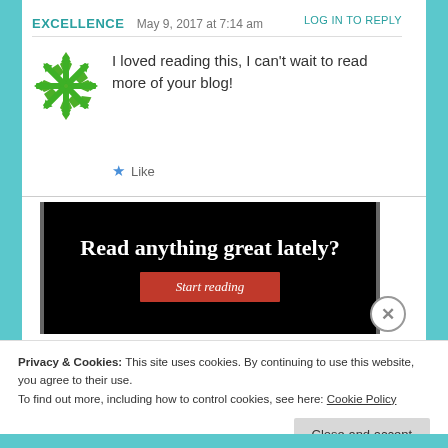EXCELLENCE   May 9, 2017 at 7:14 am   LOG IN TO REPLY
[Figure (logo): Green snowflake/pinwheel logo avatar for user EXCELLENCE]
I loved reading this, I can't wait to read more of your blog!
★ Like
[Figure (other): Black banner advertisement reading 'Read anything great lately?' with a red 'Start reading' button]
Privacy & Cookies: This site uses cookies. By continuing to use this website, you agree to their use.
To find out more, including how to control cookies, see here: Cookie Policy
Close and accept